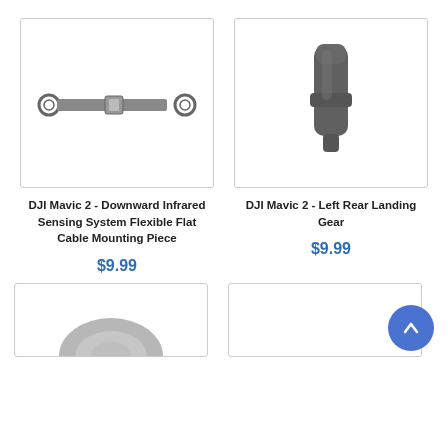[Figure (photo): DJI Mavic 2 Downward Infrared Sensing System Flexible Flat Cable Mounting Piece - small metal bracket/cable part]
[Figure (photo): DJI Mavic 2 Left Rear Landing Gear - dark grey plastic landing gear component]
DJI Mavic 2 - Downward Infrared Sensing System Flexible Flat Cable Mounting Piece
DJI Mavic 2 - Left Rear Landing Gear
$9.99
$9.99
[Figure (photo): Partial view of another DJI product at the bottom left]
[Figure (photo): Partial view of another DJI product at the bottom right with scroll-to-top button overlay]